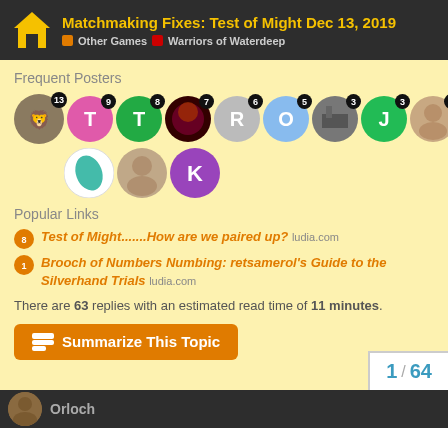Matchmaking Fixes: Test of Might Dec 13, 2019 | Other Games | Warriors of Waterdeep
Frequent Posters
[Figure (other): Row of user avatar icons with post counts: 13, 9, 8, 7, 6, 5, 3, 3, 2, 2, 2 and a second row with 3 more avatars (leaf icon, photo, purple K)]
Popular Links
Test of Might.......How are we paired up? ludia.com
Brooch of Numbers Numbing: retsamerol's Guide to the Silverhand Trials ludia.com
There are 63 replies with an estimated read time of 11 minutes.
Summarize This Topic
1 / 64
Orloch